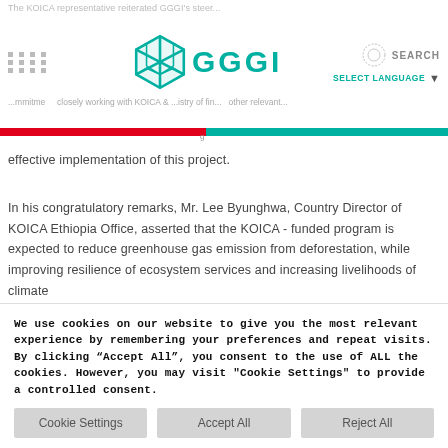GGGI website header with logo and navigation
effective implementation of this project.
In his congratulatory remarks, Mr. Lee Byunghwa, Country Director of KOICA Ethiopia Office, asserted that the KOICA - funded program is expected to reduce greenhouse gas emission from deforestation, while improving resilience of ecosystem services and increasing livelihoods of climate
We use cookies on our website to give you the most relevant experience by remembering your preferences and repeat visits. By clicking "Accept All", you consent to the use of ALL the cookies. However, you may visit "Cookie Settings" to provide a controlled consent.